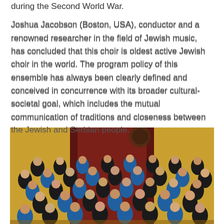during the Second World War.
Joshua Jacobson (Boston, USA), conductor and a renowned researcher in the field of Jewish music, has concluded that this choir is oldest active Jewish choir in the world. The program policy of this ensemble has always been clearly defined and conceived in concurrence with its broader cultural-societal goal, which includes the mutual communication of traditions and closeness between the Jewish and Serbian people.
[Figure (photo): Group photo of a choir ensemble consisting of approximately 35 members, arranged in rows on risers. Members are wearing alternating black and teal/blue outfits. The background shows an ornate concert hall interior with golden/wooden panels and dark red walls.]